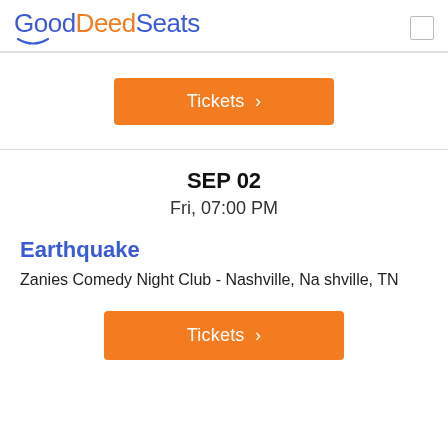GoodDeedSeats
Tickets >
SEP 02
Fri, 07:00 PM
Earthquake
Zanies Comedy Night Club - Nashville, Nashville, TN
Tickets >